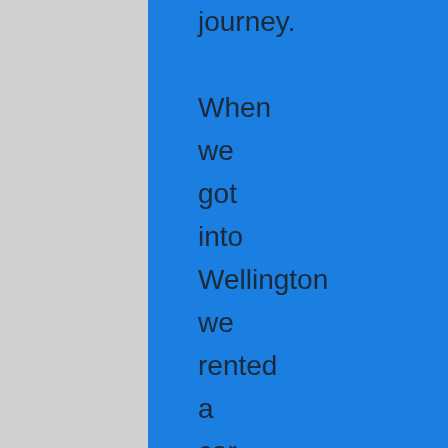journey. When we got into Wellington we rented a car – no more buses! After finding our hotel room we walked down Cuba street. Supposedly